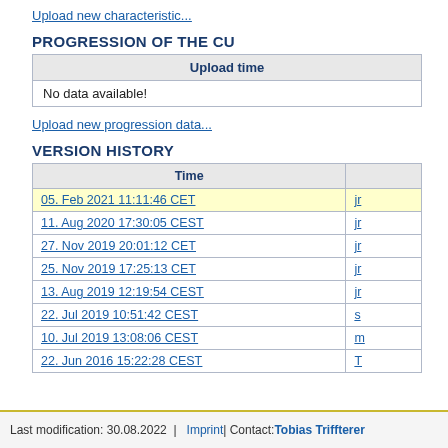Upload new characteristic...
PROGRESSION OF THE CU
| Upload time |
| --- |
| No data available! |
Upload new progression data...
VERSION HISTORY
| Time |  |
| --- | --- |
| 05. Feb 2021 11:11:46 CET | jr |
| 11. Aug 2020 17:30:05 CEST | jr |
| 27. Nov 2019 20:01:12 CET | jr |
| 25. Nov 2019 17:25:13 CET | jr |
| 13. Aug 2019 12:19:54 CEST | jr |
| 22. Jul 2019 10:51:42 CEST | s |
| 10. Jul 2019 13:08:06 CEST | m |
| 22. Jun 2016 15:22:28 CEST | T |
Last modification: 30.08.2022  |  Imprint  |  Contact: Tobias Triffterer